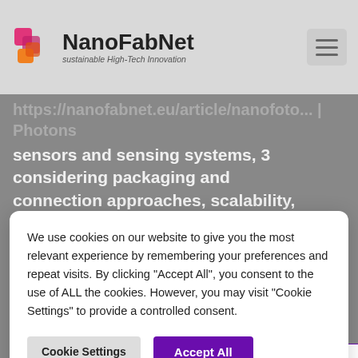NanoFabNet - sustainable High-Tech Innovation
sensors and sensing systems, 3 considering packaging and connection approaches, scalability, CMOS-compatibility, and
We use cookies on our website to give you the most relevant experience by remembering your preferences and repeat visits. By clicking "Accept All", you consent to the use of ALL the cookies. However, you may visit "Cookie Settings" to provide a controlled consent.
Cookie Settings   Accept All
3. Hybrid sensing:
combining two or more sensing methods – at least one of which originates from the field of photonics – to enable new sensor applications or to substantially improve existing